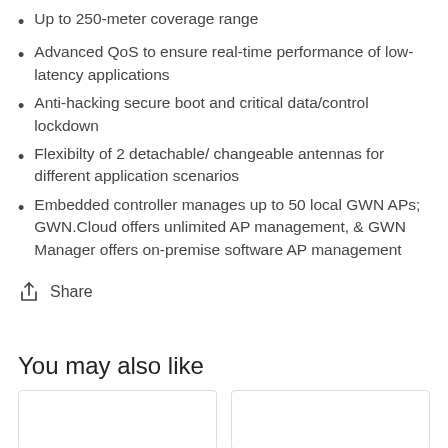Up to 250-meter coverage range
Advanced QoS to ensure real-time performance of low-latency applications
Anti-hacking secure boot and critical data/control lockdown
Flexibilty of 2 detachable/ changeable antennas for different application scenarios
Embedded controller manages up to 50 local GWN APs; GWN.Cloud offers unlimited AP management, & GWN Manager offers on-premise software AP management
Share
You may also like